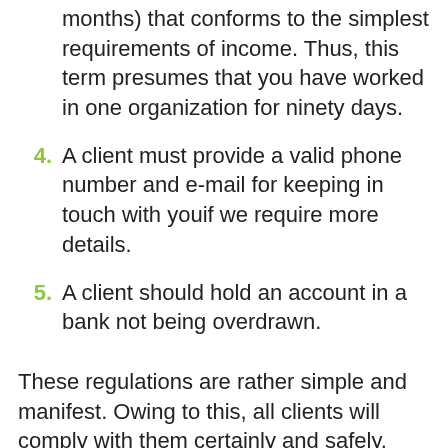months) that conforms to the simplest requirements of income. Thus, this term presumes that you have worked in one organization for ninety days.
4. A client must provide a valid phone number and e-mail for keeping in touch with youif we require more details.
5. A client should hold an account in a bank not being overdrawn.
These regulations are rather simple and manifest. Owing to this, all clients will comply with them certainly and safely.
Fast Cash Loans in Geismar, Louisiana and Their T...